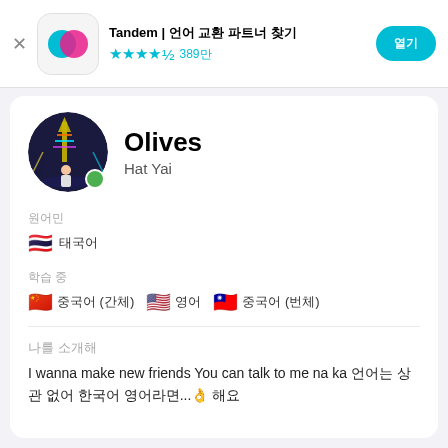Tandem | 언어 교환 파트너 찾기 ★★★★½ 389만
Olives
Hat Yai
원어민
🇹🇭 태국어
학습 중
🇨🇳 중국어 (간체)  🇺🇸 영어  🇹🇼 중국어 (번체)
나를 소개해
I wanna make new friends You can talk to me na ka 언어는 상관 없어 한국어 영어라면...👌 해요